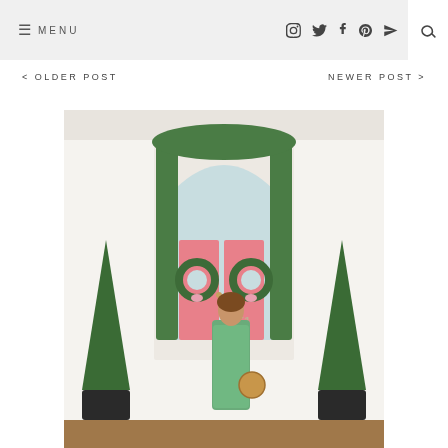≡ MENU  [social icons: Instagram, Twitter, Facebook, Pinterest, Email]  [search icon]
< OLDER POST
NEWER POST >
[Figure (photo): Woman in a green floral dress holding a rattan bag, standing in front of a pink door decorated with Christmas wreaths and ivy garlands. Two topiary trees in black pots flank the doorway. The building is white with classical architectural details.]